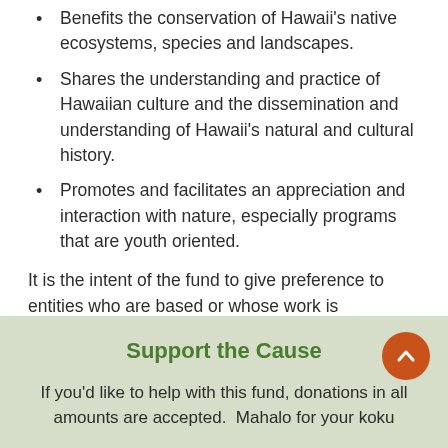Benefits the conservation of Hawaii's native ecosystems, species and landscapes.
Shares the understanding and practice of Hawaiian culture and the dissemination and understanding of Hawaii's natural and cultural history.
Promotes and facilitates an appreciation and interaction with nature, especially programs that are youth oriented.
It is the intent of the fund to give preference to entities who are based or whose work is performed in the communities where we operate tours.
Support the Cause
If you'd like to help with this fund, donations in all amounts are accepted.  Mahalo for your koku